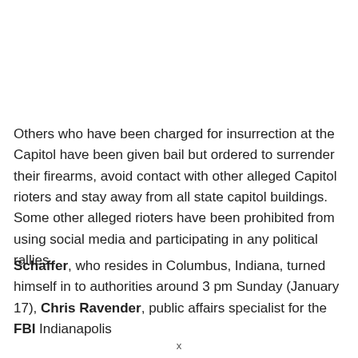Others who have been charged for insurrection at the Capitol have been given bail but ordered to surrender their firearms, avoid contact with other alleged Capitol rioters and stay away from all state capitol buildings. Some other alleged rioters have been prohibited from using social media and participating in any political rallies.
Schaffer, who resides in Columbus, Indiana, turned himself in to authorities around 3 pm Sunday (January 17), Chris Ravender, public affairs specialist for the FBI Indianapolis
x